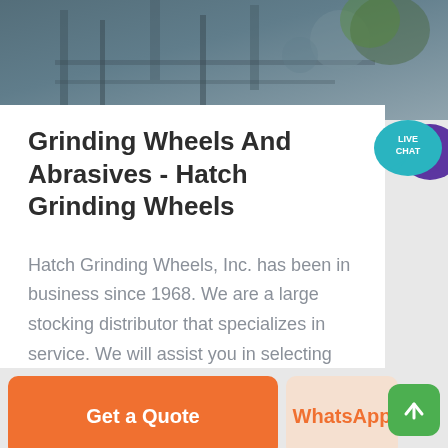[Figure (photo): Industrial or warehouse background photo at the top of the page]
Grinding Wheels And Abrasives - Hatch Grinding Wheels
Hatch Grinding Wheels, Inc. has been in business since 1968. We are a large stocking distributor that specializes in service. We will assist you in selecting the best product for your application. We represent the leading Grinding
[Figure (illustration): Live Chat speech bubble icon in teal/purple colors]
Get a Quote
WhatsApp